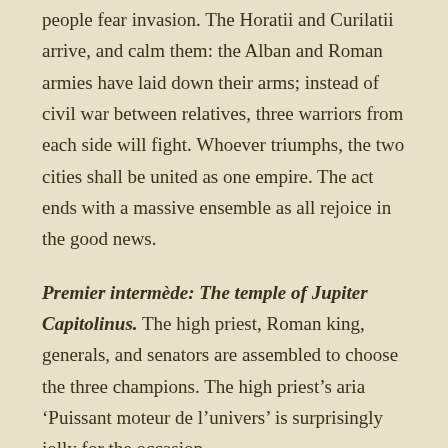people fear invasion. The Horatii and Curilatii arrive, and calm them: the Alban and Roman armies have laid down their arms; instead of civil war between relatives, three warriors from each side will fight. Whoever triumphs, the two cities shall be united as one empire. The act ends with a massive ensemble as all rejoice in the good news.
Premier intermède: The temple of Jupiter Capitolinus. The high priest, Roman king, generals, and senators are assembled to choose the three champions. The high priest's aria 'Puissant moteur de l'univers' is surprisingly jolly for the occasion.
Act II: An apartment in Horatius's palace. Camille, Curiatus, and the Young Horatius look forward to the